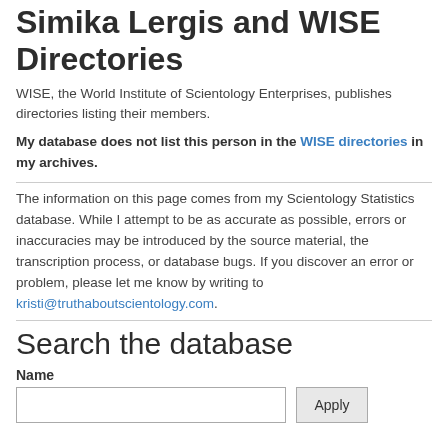Simika Lergis and WISE Directories
WISE, the World Institute of Scientology Enterprises, publishes directories listing their members.
My database does not list this person in the WISE directories in my archives.
The information on this page comes from my Scientology Statistics database. While I attempt to be as accurate as possible, errors or inaccuracies may be introduced by the source material, the transcription process, or database bugs. If you discover an error or problem, please let me know by writing to kristi@truthaboutscientology.com.
Search the database
Name
Apply